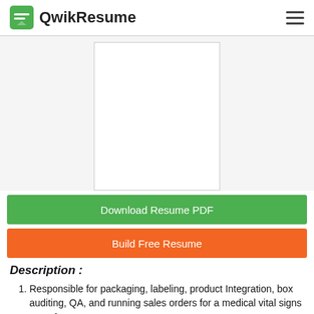QwikResume
[Figure (other): Preview of a blank resume document page shown as a white rectangle with border on a light gray background]
Download Resume PDF
Build Free Resume
Description :
Responsible for packaging, labeling, product Integration, box auditing, QA, and running sales orders for a medical vital signs manufacturer.
Performed electro-mechanical assembly in the